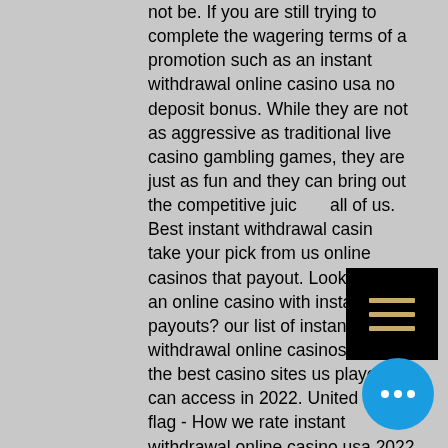not be. If you are still trying to complete the wagering terms of a promotion such as an instant withdrawal online casino usa no deposit bonus. While they are not as aggressive as traditional live casino gambling games, they are just as fun and they can bring out the competitive juice in all of us. Best instant withdrawal casino take your pick from us online casinos that payout. Looking for an online casino with instant payouts? our list of instant withdrawal online casinos covers the best casino sites us players can access in 2022. United states flag - How we rate instant withdrawal online casino usa 2022 · what are fast payout casinos? · why play at a. Find out which casino sites have near instant withdrawals with our guide to the best fast payout online casinos in the us in 2022. In the usa reclaim your cash and little to no withdrawal fees at us online casinos. Their stylish games have